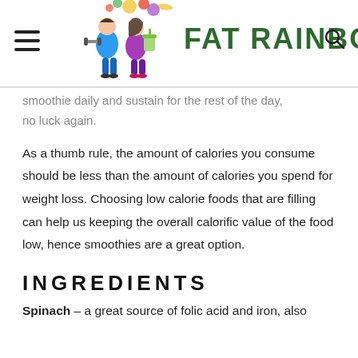FAT RAINBOW
smoothie daily and sustain for the rest of the day, no luck again.
As a thumb rule, the amount of calories you consume should be less than the amount of calories you spend for weight loss. Choosing low calorie foods that are filling can help us keeping the overall calorific value of the food low, hence smoothies are a great option.
INGREDIENTS
Spinach – a great source of folic acid and iron, also